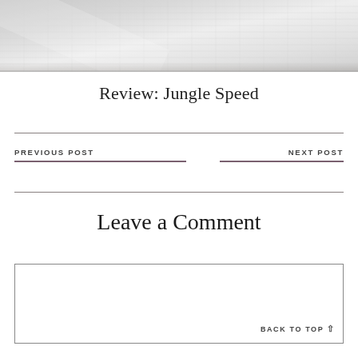[Figure (photo): Photo of white fabric or canvas texture, partially cropped at top of page]
Review: Jungle Speed
PREVIOUS POST
NEXT POST
Leave a Comment
BACK TO TOP